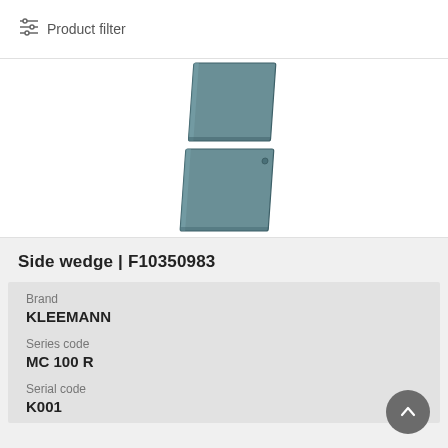Product filter
[Figure (photo): 3D rendering of a side wedge product (two teal/slate-colored rectangular panels, one on top of the other, shown in perspective view)]
Side wedge | F10350983
Brand
KLEEMANN
Series code
MC 100 R
Serial code
K001